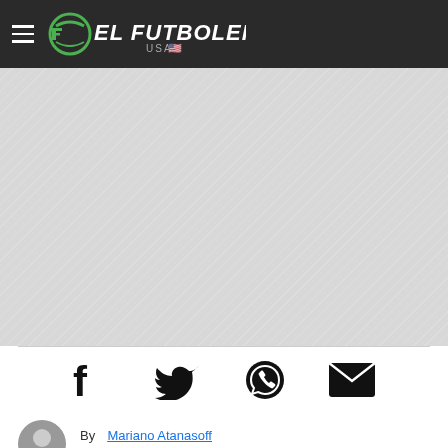EL FUTBOLERO USA
[Figure (other): Gray banner/advertisement placeholder area with diagonal stripe pattern]
[Figure (infographic): Social sharing icons row: Facebook, Twitter, WhatsApp, Email]
By Mariano Atanasoff
October 15, 2020, 12:40 hs